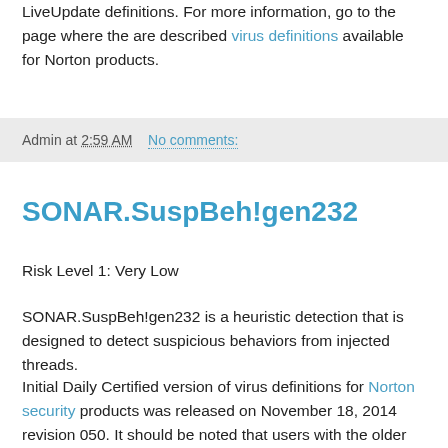LiveUpdate definitions. For more information, go to the page where the are described virus definitions available for Norton products.
Admin at 2:59 AM   No comments:
SONAR.SuspBeh!gen232
Risk Level 1: Very Low
SONAR.SuspBeh!gen232 is a heuristic detection that is designed to detect suspicious behaviors from injected threads.
Initial Daily Certified version of virus definitions for Norton security products was released on November 18, 2014 revision 050. It should be noted that users with the older versions of Norton Internet Security are limited to Daily LiveUpdate definitions. For more information, go to the page